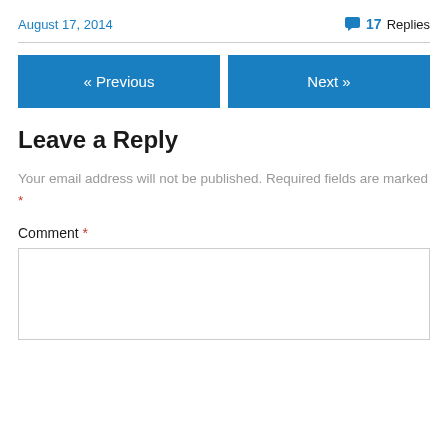August 17, 2014
17 Replies
« Previous
Next »
Leave a Reply
Your email address will not be published. Required fields are marked *
Comment *